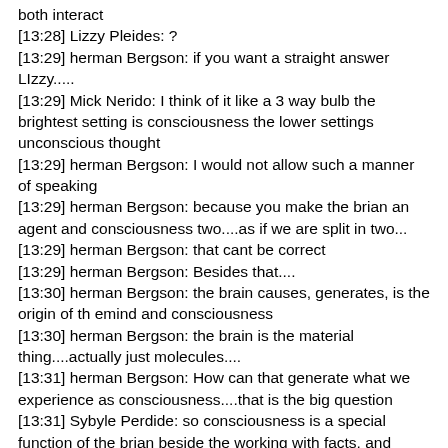both interact
[13:28] Lizzy Pleides: ?
[13:29] herman Bergson: if you want a straight answer LIzzy.....
[13:29] Mick Nerido: I think of it like a 3 way bulb the brightest setting is consciousness the lower settings unconscious thought
[13:29] herman Bergson: I would not allow such a manner of speaking
[13:29] herman Bergson: because you make the brian an agent and consciousness two....as if we are split in two...
[13:29] herman Bergson: that cant be correct
[13:29] herman Bergson: Besides that....
[13:30] herman Bergson: the brain causes, generates, is the origin of th emind and consciousness
[13:30] herman Bergson: the brain is the material thing....actually just molecules....
[13:31] herman Bergson: How can that generate what we experience as consciousness....that is the big question
[13:31] Sybyle Perdide: so consciousness is a special function of the brian beside the working with facts, and supervising this?